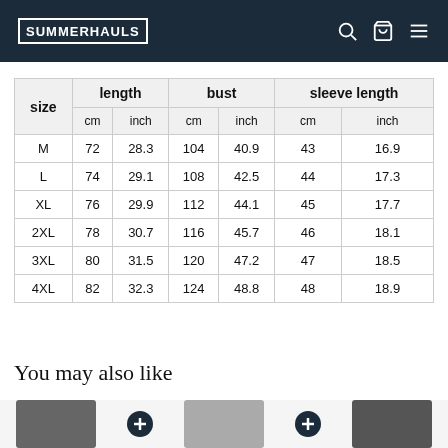SUMMERHAULS
| size | length cm | length inch | bust cm | bust inch | sleeve length cm | sleeve length inch |
| --- | --- | --- | --- | --- | --- | --- |
| M | 72 | 28.3 | 104 | 40.9 | 43 | 16.9 |
| L | 74 | 29.1 | 108 | 42.5 | 44 | 17.3 |
| XL | 76 | 29.9 | 112 | 44.1 | 45 | 17.7 |
| 2XL | 78 | 30.7 | 116 | 45.7 | 46 | 18.1 |
| 3XL | 80 | 31.5 | 120 | 47.2 | 47 | 18.5 |
| 4XL | 82 | 32.3 | 124 | 48.8 | 48 | 18.9 |
You may also like